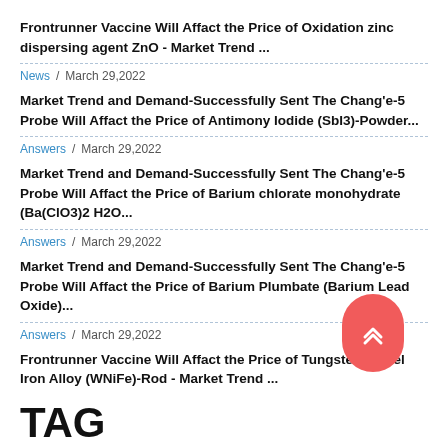Frontrunner Vaccine Will Affact the Price of Oxidation zinc dispersing agent ZnO - Market Trend ...
News / March 29,2022
Market Trend and Demand-Successfully Sent The Chang'e-5 Probe Will Affact the Price of Antimony Iodide (SbI3)-Powder...
Answers / March 29,2022
Market Trend and Demand-Successfully Sent The Chang'e-5 Probe Will Affact the Price of Barium chlorate monohydrate (Ba(ClO3)2 H2O...
Answers / March 29,2022
Market Trend and Demand-Successfully Sent The Chang'e-5 Probe Will Affact the Price of Barium Plumbate (Barium Lead Oxide)...
Answers / March 29,2022
Frontrunner Vaccine Will Affact the Price of Tungsten Nickel Iron Alloy (WNiFe)-Rod - Market Trend ...
TAG